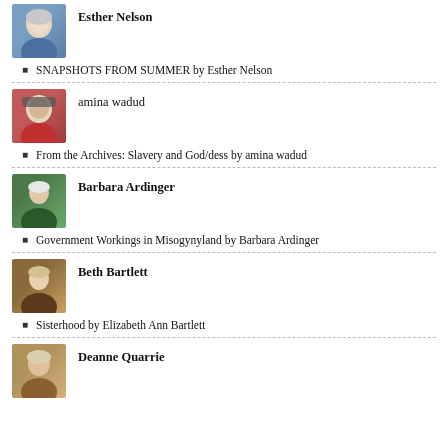[Figure (photo): Headshot of Esther Nelson, older woman with short silver hair]
SNAPSHOTS FROM SUMMER by Esther Nelson
[Figure (photo): Headshot of amina wadud, woman with glasses and red jacket]
From the Archives: Slavery and God/dess by amina wadud
[Figure (photo): Headshot of Barbara Ardinger, older woman with short hair]
Government Workings in Misogynyland by Barbara Ardinger
[Figure (photo): Headshot of Beth Bartlett, woman with light hair sitting outdoors]
Sisterhood by Elizabeth Ann Bartlett
[Figure (photo): Headshot of Deanne Quarrie, older woman smiling]
Deanne Quarrie